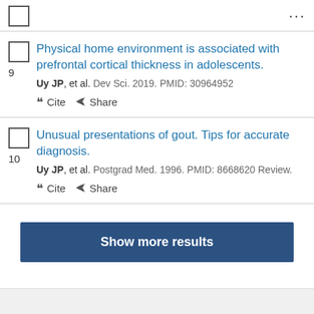Physical home environment is associated with prefrontal cortical thickness in adolescents.
Uy JP, et al. Dev Sci. 2019. PMID: 30964952
Cite  Share
Unusual presentations of gout. Tips for accurate diagnosis.
Uy JP, et al. Postgrad Med. 1996. PMID: 8668620 Review.
Cite  Share
Show more results